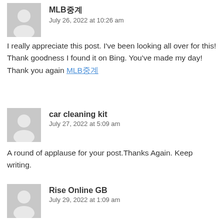MLB중계
July 26, 2022 at 10:26 am
I really appreciate this post. I've been looking all over for this! Thank goodness I found it on Bing. You've made my day! Thank you again MLB중계
car cleaning kit
July 27, 2022 at 5:09 am
A round of applause for your post.Thanks Again. Keep writing.
Rise Online GB
July 29, 2022 at 1:09 am